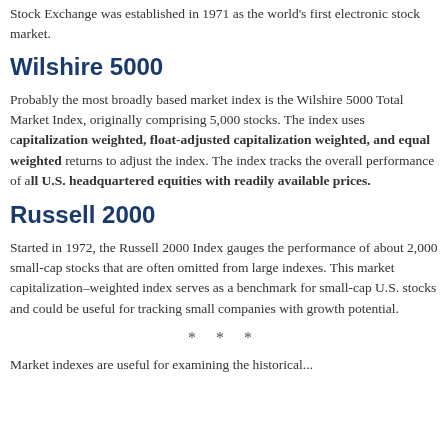Stock Exchange was established in 1971 as the world's first electronic stock market.
Wilshire 5000
Probably the most broadly based market index is the Wilshire 5000 Total Market Index, originally comprising 5,000 stocks. The index uses capitalization weighted, float-adjusted capitalization weighted, and equal weighted returns to adjust the index. The index tracks the overall performance of all U.S. headquartered equities with readily available prices.
Russell 2000
Started in 1972, the Russell 2000 Index gauges the performance of about 2,000 small-cap stocks that are often omitted from large indexes. This market capitalization–weighted index serves as a benchmark for small-cap U.S. stocks and could be useful for tracking small companies with growth potential.
* * *
Market indexes are useful for examining the historical...